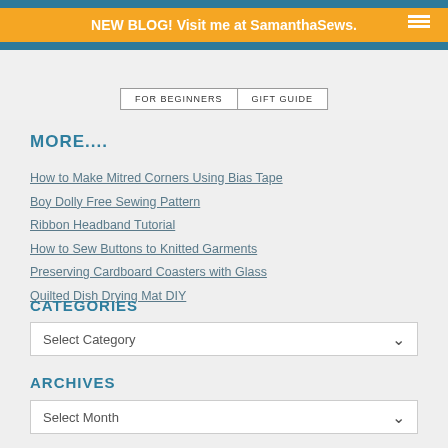NEW BLOG! Visit me at SamanthaSews.
[Figure (screenshot): Navigation image area with sewing supplies, with FOR BEGINNERS and GIFT GUIDE navigation buttons below]
MORE...
How to Make Mitred Corners Using Bias Tape
Boy Dolly Free Sewing Pattern
Ribbon Headband Tutorial
How to Sew Buttons to Knitted Garments
Preserving Cardboard Coasters with Glass
Quilted Dish Drying Mat DIY
CATEGORIES
Select Category
ARCHIVES
Select Month